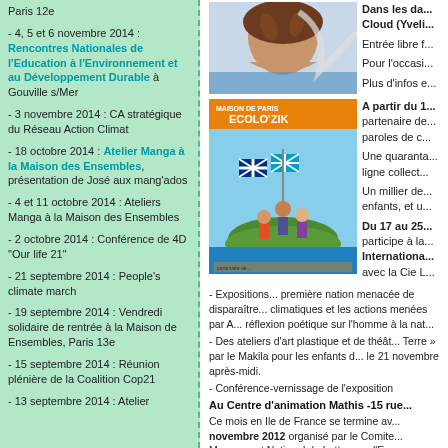Paris 12e
- 4, 5 et 6 novembre 2014 : Rencontres Nationales de l'Education à l'Environnement et au Développement Durable à Gouville s/Mer
- 3 novembre 2014 : CA stratégique du Réseau Action Climat
- 18 octobre 2014 : Atelier Manga à la Maison des Ensembles, présentation de José aux mang'ados
- 4 et 11 octobre 2014 : Ateliers Manga à la Maison des Ensembles
- 2 octobre 2014 : Conférence de 4D "Our life 21"
- 21 septembre 2014 : People's climate march
- 19 septembre 2014 : Vendredi solidaire de rentrée à la Maison de Ensembles, Paris 13e
- 15 septembre 2014 : Réunion plénière de la Coalition Cop21
- 13 septembre 2014 : Atelier
[Figure (photo): Illustration of a woman with floral/nature elements]
[Figure (illustration): Ecolo'zik poster with children on an island holding flags]
Dans les da... Cloud (Yveli...
Entrée libre f...
Pour l'occasi...
Plus d'infos e...
A partir du 1... partenaire de... paroles de c...
Une quaranta... ligne collect...
Un millier de... enfants, et u...
Du 17 au 25... participe à la... Internationale... avec la Cie L...
- Expositions... première nation menacée de disparaître... climatiques et les actions menées par A... réflexion poétique sur l'homme à la nat...
- Des ateliers d'art plastique et de théât... Terre » par le Makila pour les enfants d... le 21 novembre après-midi.
- Conférence-vernissage de l'exposition
Au Centre d'animation Mathis -15 rue...
Ce mois en Ile de France se termine av... novembre 2012 organisé par le Comite... Mouvement National de Lutte pour l'E...